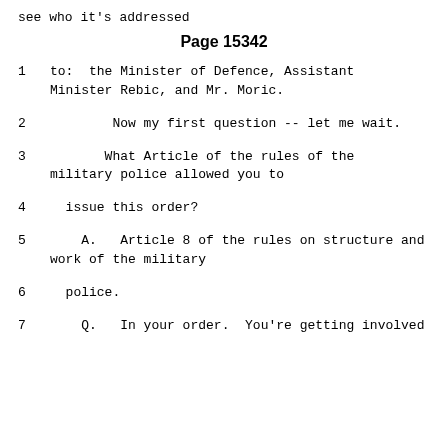see who it's addressed
Page 15342
1      to:  the Minister of Defence, Assistant Minister Rebic, and Mr. Moric.
2                Now my first question -- let me wait.
3              What Article of the rules of the military police allowed you to
4      issue this order?
5        A.   Article 8 of the rules on structure and work of the military
6      police.
7        Q.   In your order.  You're getting involved